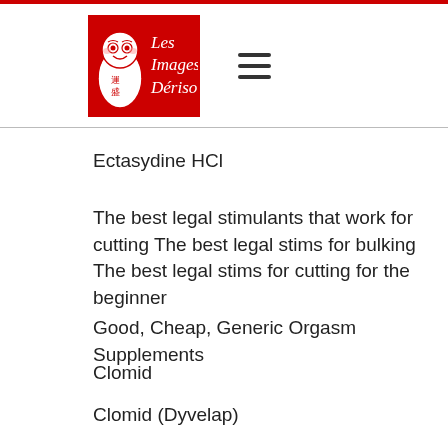Les Images Dérisoires
Ectasydine HCl
The best legal stimulants that work for cutting The best legal stims for bulking The best legal stims for cutting for the beginner
Good, Cheap, Generic Orgasm Supplements
Clomid
Clomid (Dyvelap)
Nolvadex HCl
Norlevo HCl